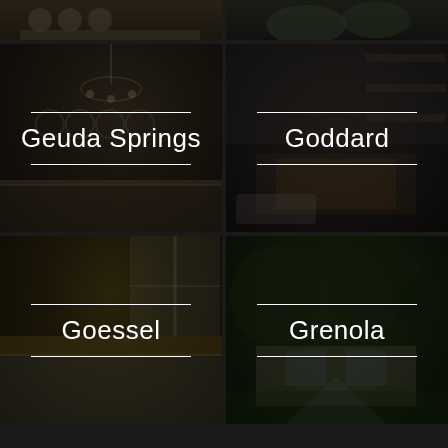[Figure (photo): Partial top strip showing kitchen interior, dark overlay]
[Figure (photo): Partial top strip showing outdoor/garden scene, dark overlay]
[Figure (photo): Interior kitchen/dining room photo with dark overlay and city label Geuda Springs]
[Figure (photo): Interior living room with fireplace photo with dark overlay and city label Goddard]
[Figure (photo): Modern kitchen interior photo with dark overlay and city label Goessel]
[Figure (photo): Home exterior with trees photo with dark overlay and city label Grenola]